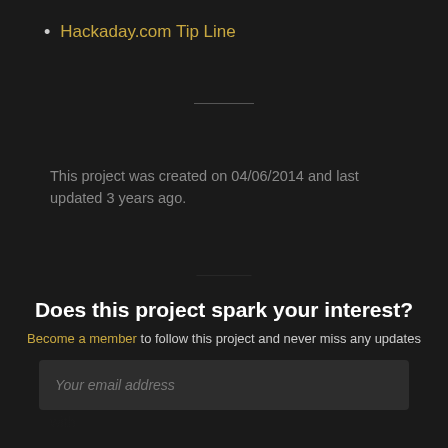Hackaday.com Tip Line
This project was created on 04/06/2014 and last updated 3 years ago.
DESCRIPTION
Extremely cheap gateway for automation. Compatible with
Does this project spark your interest?
Become a member to follow this project and never miss any updates
Your email address